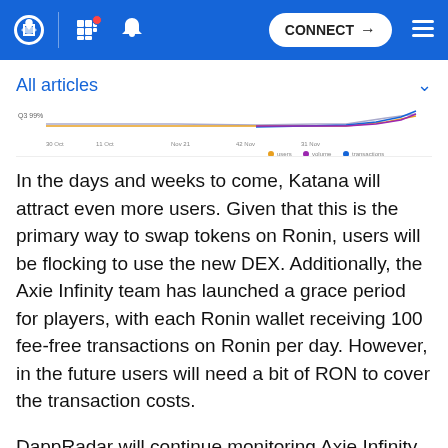CONNECT
All articles
[Figure (line-chart): Partial line chart showing multiple data series (users, volume, transactions) over time with orange, purple, and blue lines trending upward at the right side.]
In the days and weeks to come, Katana will attract even more users. Given that this is the primary way to swap tokens on Ronin, users will be flocking to use the new DEX. Additionally, the Axie Infinity team has launched a grace period for players, with each Ronin wallet receiving 100 fee-free transactions on Ronin per day. However, in the future users will need a bit of RON to cover the transaction costs.
DappRadar will continue monitoring Axie Infinity and